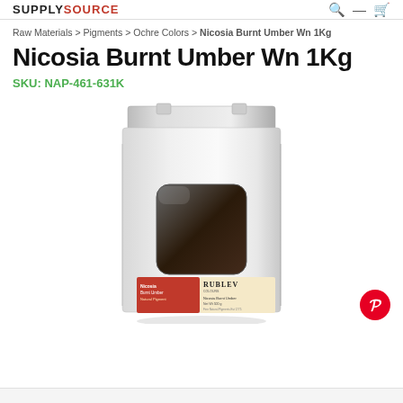SUPPLYSOURCE
Raw Materials > Pigments > Ochre Colors > Nicosia Burnt Umber Wn 1Kg
Nicosia Burnt Umber Wn 1Kg
SKU: NAP-461-631K
[Figure (photo): White kraft paper bag of Rublev Colours Nicosia Burnt Umber pigment, 1kg size, with a transparent window showing dark brown/black pigment powder and an orange-and-cream product label.]